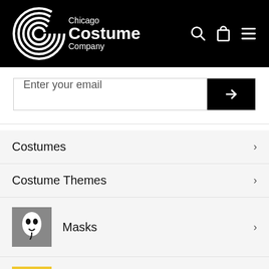[Figure (logo): Chicago Costume Company logo in white on black header background, with circular C logo mark]
Enter your email
Costumes
Costume Themes
Masks
Wigs
Make Up